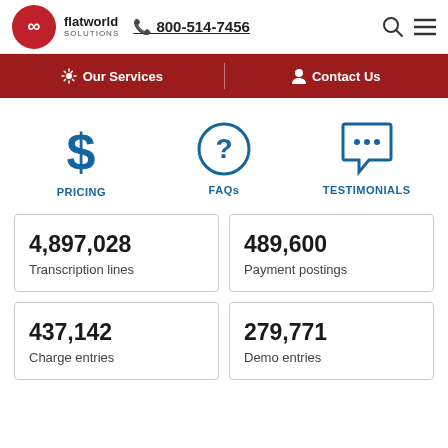[Figure (logo): Flatworld Solutions logo with infinity symbol in red circle and company name]
📞 800-514-7456
Our Services | Contact Us
[Figure (infographic): Three icons: dollar sign (PRICING), question mark in circle (FAQs), speech bubble with ellipsis (TESTIMONIALS)]
4,897,028
Transcription lines
489,600
Payment postings
437,142
Charge entries
279,771
Demo entries